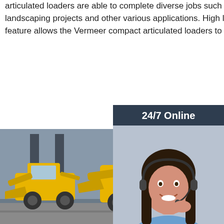articulated loaders are able to complete diverse jobs such as snow removal, tree care work, landscaping projects and other various applications. High lifting capabilities and a telescopic boom feature allows the Vermeer compact articulated loaders to extend their effi… the jobsite.
[Figure (infographic): 24/7 Online chat sidebar with a customer service representative (woman with headset), dark navy background, with 'Click here for free chat!' text and an orange QUOTATION button.]
Get Price
[Figure (photo): Photo of yellow construction loaders/backhoes parked in front of a grey industrial building.]